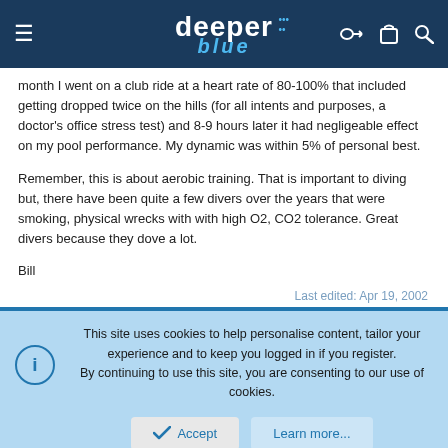DeeperBlue
month I went on a club ride at a heart rate of 80-100% that included getting dropped twice on the hills (for all intents and purposes, a doctor's office stress test) and 8-9 hours later it had negligeable effect on my pool performance. My dynamic was within 5% of personal best.
Remember, this is about aerobic training. That is important to diving but, there have been quite a few divers over the years that were smoking, physical wrecks with with high O2, CO2 tolerance. Great divers because they dove a lot.
Bill
Last edited: Apr 19, 2002
This site uses cookies to help personalise content, tailor your experience and to keep you logged in if you register.
By continuing to use this site, you are consenting to our use of cookies.